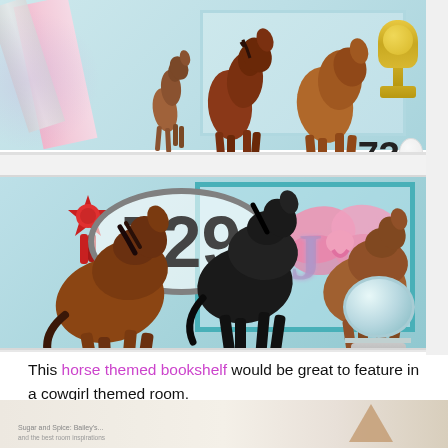[Figure (photo): Two-shelf white bookshelf decorated with a horse theme. Top shelf contains three brown horse figurines of varying sizes, pink satin ribbons, a silver ribbon, a gold crown trophy, and a number '73' label. Bottom shelf features a large number '729' on an oval, red rosette ribbon, three brown and black horse figurines, a pink bow, a snow globe, a teal picture frame, and a glittery decorative letter.]
This horse themed bookshelf would be great to feature in a cowgirl themed room.
[Figure (photo): Partial view of a room decor photo at the bottom of the page, showing wooden/geometric elements and a small caption reading 'Sugar and Spice: Bailey's...' with additional text cut off.]